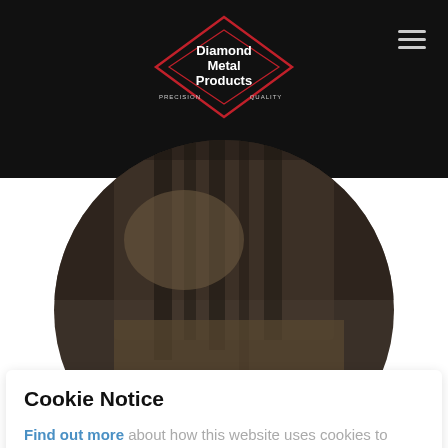[Figure (logo): Diamond Metal Products logo — diamond shape outline in red with white text 'Diamond Metal Products' and 'PRECISION QUALITY' tagline on black background]
[Figure (photo): Circular cropped photo of metal machining/manufacturing process, showing metal parts and machinery in dark tones]
Cookie Notice
Find out more about how this website uses cookies to enhance your browsing experience.
ACCEPT